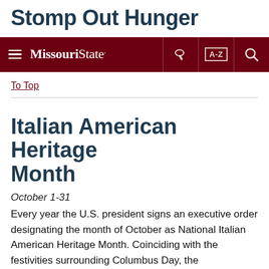Stomp Out Hunger
[Figure (screenshot): Missouri State University navigation bar with hamburger menu, Missouri State logo, key icon, A-Z index button, and search icon on dark red background]
To Top
Italian American Heritage Month
October 1-31
Every year the U.S. president signs an executive order designating the month of October as National Italian American Heritage Month. Coinciding with the festivities surrounding Columbus Day, the proclamation is